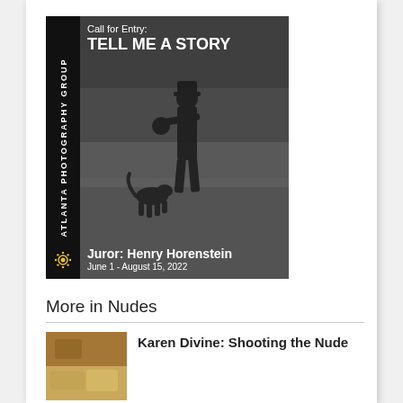[Figure (illustration): Atlanta Photography Group promotional poster for 'Call for Entry: TELL ME A STORY'. Black and white photo showing a man in a cowboy hat playing banjo with a dog, overlaid with text. Left sidebar reads 'ATLANTA PHOTOGRAPHY GROUP' vertically with a yellow sunburst icon. Juror: Henry Horenstein, June 1 - August 15, 2022.]
More in Nudes
[Figure (photo): Small thumbnail photo — brownish/golden toned image, abstract nude.]
Karen Divine: Shooting the Nude